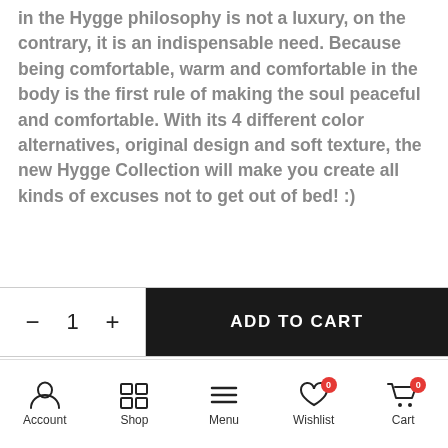in the Hygge philosophy is not a luxury, on the contrary, it is an indispensable need. Because being comfortable, warm and comfortable in the body is the first rule of making the soul peaceful and comfortable. With its 4 different color alternatives, original design and soft texture, the new Hygge Collection will make you create all kinds of excuses not to get out of bed! :)
Our Hygge Collection is woven with sustainably sourced cotton which means less impact on the
— 1 +   ADD TO CART
Account   Shop   Menu   Wishlist 0   Cart 0